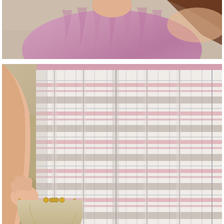[Figure (photo): Close-up of a woman wearing a pink/lavender ruched top, with brown hair visible. Cropped view showing upper torso and neckline area against a blurred outdoor background.]
[Figure (photo): Close-up of a woman wearing a pleated plaid skirt with pastel pink, gray/taupe, and white check pattern. She is holding a small rounded handbag with gold handles. Her arm/hand is visible at the left side. Outdoor setting with blurred background.]